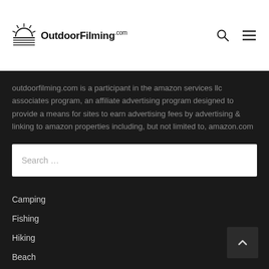OutdoorFilming.com
outdoorfilming.com is a participant in the amazon services llc associates program, an affiliate advertising program designed to provide a means for sites to earn advertising fees by advertising & linking to amazon properties including, but not limited to, amazon.com
Search …
Camping
Fishing
Hiking
Beach